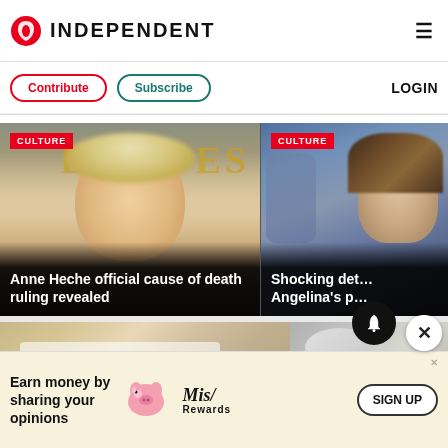INDEPENDENT
Contribute | Subscribe | LOGIN
[Figure (photo): Anne Heche blonde woman at an event, with CULTURE badge overlay and headline: Anne Heche official cause of death ruling revealed]
[Figure (photo): Man with long brown hair, with CULTURE badge overlay and partial headline: Shocking det... Angelina's p...]
[Figure (photo): Close-up of food (appears to be a creamy dessert or pastry)]
[Figure (photo): Partial photo of a person on the right side]
Earn money by sharing your opinions
SIGN UP